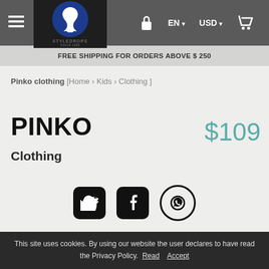≡  STYLEDROPS  🔒  EN  USD  🛍
FREE SHIPPING FOR ORDERS ABOVE $ 250
Pinko clothing [Home › Kids › Clothing ]
PINKO  $109
Clothing
[Figure (other): Social share icons: Twitter, Facebook, WhatsApp]
This site uses cookies. By using our website the user declares to have read the Privacy Policy. Read  Accept